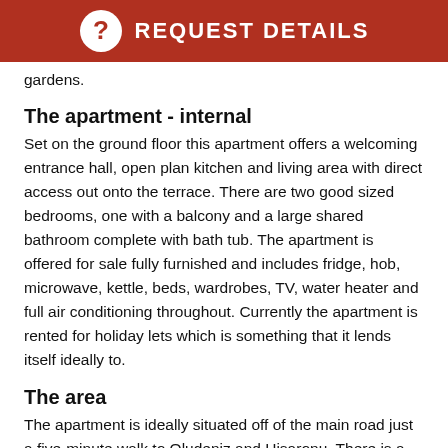REQUEST DETAILS
gardens.
The apartment - internal
Set on the ground floor this apartment offers a welcoming entrance hall, open plan kitchen and living area with direct access out onto the terrace. There are two good sized bedrooms, one with a balcony and a large shared bathroom complete with bath tub. The apartment is offered for sale fully furnished and includes fridge, hob, microwave, kettle, beds, wardrobes, TV, water heater and full air conditioning throughout. Currently the apartment is rented for holiday lets which is something that it lends itself ideally to.
The area
The apartment is ideally situated off of the main road just a five-minute walk to Oludeniz and Hisaronu. There is a regular bus service from the main road to the famous Oludeniz beaches and the town centre of Fethiye.
Hisaronu is a village in the Fethiye district and it is a very popular